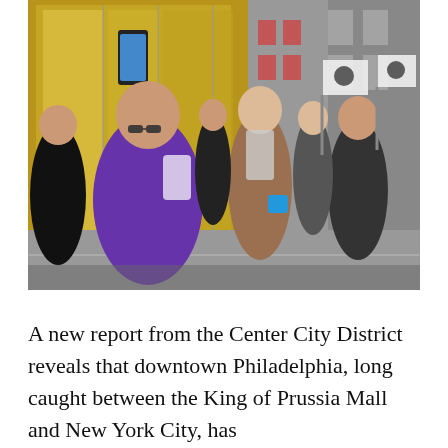[Figure (photo): A crowd of people walking down a city sidewalk in front of what appears to be an Apple Store with large glass windows. People are dressed in winter clothing. Some individuals in the background are carrying white flags or banners with logos. The scene appears to be a busy urban street, possibly a protest or march.]
A new report from the Center City District reveals that downtown Philadelphia, long caught between the King of Prussia Mall and New York City, has